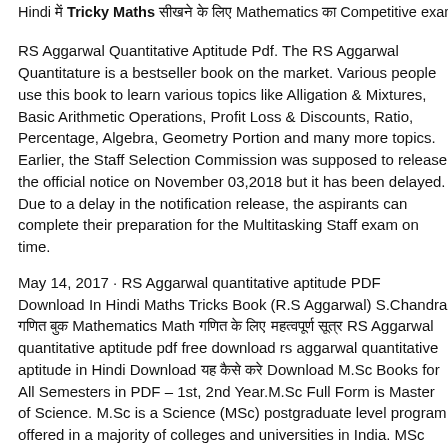Hindi में Tricky Maths सीखने के लिए Mathematics का Competitive exam के लिए
RS Aggarwal Quantitative Aptitude Pdf. The RS Aggarwal Quantitative aptitude is a bestseller book on the market. Various people use this book to learn various topics like Alligation & Mixtures, Basic Arithmetic Operations, Profit Loss & Discounts, Ratio, Percentage, Algebra, Geometry Portion and many more topics. Earlier, the Staff Selection Commission was supposed to release the official notice on November 03,2018 but it has been delayed. Due to a delay in the notification release, the aspirants can complete their preparation for the Multitasking Staff exam on time.
May 14, 2017 · RS Aggarwal quantitative aptitude PDF Download In Hindi Maths Tricks Book (R.S Aggarwal) S.Chandra गणित बुक Mathematics Math गणित के लिए महत्वपूर्ण सूत्र RS Aggarwal quantitative aptitude pdf free download rs aggarwal quantitative aptitude in Hindi Download यह कैसे करे Download M.Sc Books for All Semesters in PDF – 1st, 2nd Year.M.Sc Full Form is Master of Science. M.Sc is a Science (MSc) postgraduate level program offered in a majority of colleges and universities in India. MSc course content in classes is imparted through various means like lectures, lab work, workshops (M.Sc पाठ्यक्रम), and directed study.
Jun 22, 2019 · Download Latest (2018-19) Free PDF of NCERT Mat